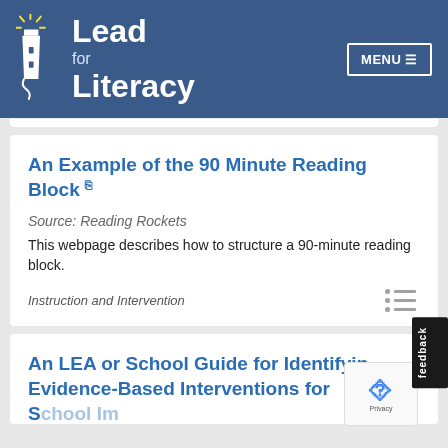Lead for Literacy
An Example of the 90 Minute Reading Block
Source: Reading Rockets
This webpage describes how to structure a 90-minute reading block.
Instruction and Intervention
An LEA or School Guide for Identifying Evidence-Based Interventions for School Improvement